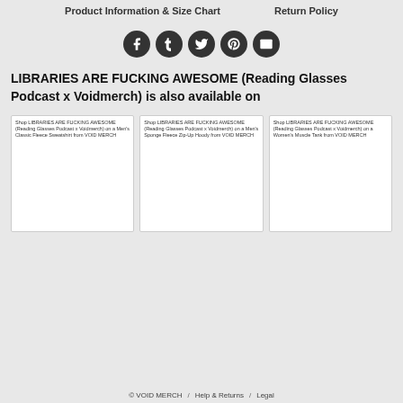Product Information & Size Chart   Return Policy
[Figure (infographic): Five social media sharing icons: Facebook, Tumblr, Twitter, Pinterest, Email — dark circular buttons]
LIBRARIES ARE FUCKING AWESOME (Reading Glasses Podcast x Voidmerch) is also available on
[Figure (screenshot): Shop LIBRARIES ARE FUCKING AWESOME (Reading Glasses Podcast x Voidmerch) on a Men's Classic Fleece Sweatshirt from VOID MERCH]
[Figure (screenshot): Shop LIBRARIES ARE FUCKING AWESOME (Reading Glasses Podcast x Voidmerch) on a Men's Sponge Fleece Zip-Up Hoody from VOID MERCH]
[Figure (screenshot): Shop LIBRARIES ARE FUCKING AWESOME (Reading Glasses Podcast x Voidmerch) on a Women's Muscle Tank from VOID MERCH]
© VOID MERCH  /  Help & Returns  /  Legal